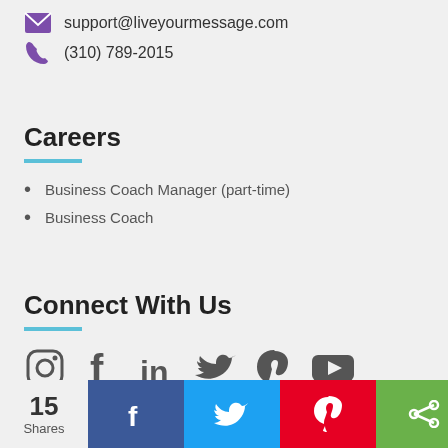support@liveyourmessage.com
(310) 789-2015
Careers
Business Coach Manager (part-time)
Business Coach
Connect With Us
[Figure (infographic): Social media icons: Instagram, Facebook, LinkedIn, Twitter, Pinterest, YouTube]
[Figure (infographic): Share bar with 15 Shares count and Facebook, Twitter, Pinterest, Share, SMS buttons]